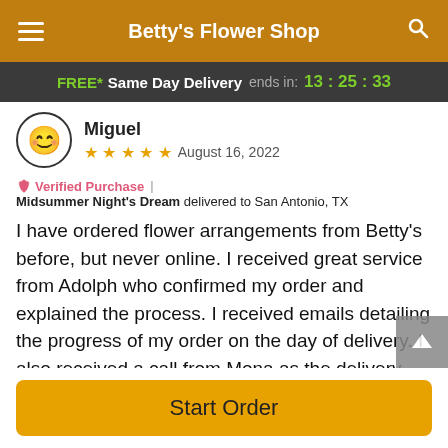Betty's Flower Shop
FREE* Same Day Delivery ends in: 13:25:33
Miguel
★★★★★ August 16, 2022
Verified Purchase | Midsummer Night's Dream delivered to San Antonio, TX
I have ordered flower arrangements from Betty's before, but never online. I received great service from Adolph who confirmed my order and explained the process. I received emails detailing the progress of my order on the day of delivery. I also received a call from Mona as the delivery driver was having problems with the delivery. Apparently the recipient of the arrangement was unavailable. After giving
Start Order